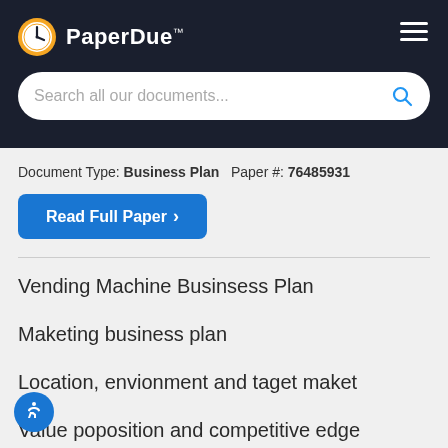PaperDue™
Document Type: Business Plan   Paper #: 76485931
Read Full Paper ›
Vending Machine Businsess Plan
Maketing business plan
Location, envionment and taget maket
Value poposition and competitive edge